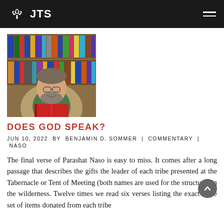JTS
[Figure (photo): A middle-aged man with glasses and a beard, wearing a tan blazer over a green shirt, smiling and holding an open book in front of a bookshelf filled with colorful books.]
DOES GOD SPEAK?
JUN 10, 2022 BY BENJAMIN D. SOMMER | COMMENTARY | NASO
The final verse of Parashat Naso is easy to miss. It comes after a long passage that describes the gifts the leader of each tribe presented at the Tabernacle or Tent of Meeting (both names are used for the structure) in the wilderness. Twelve times we read six verses listing the exact same set of items donated from each tribe